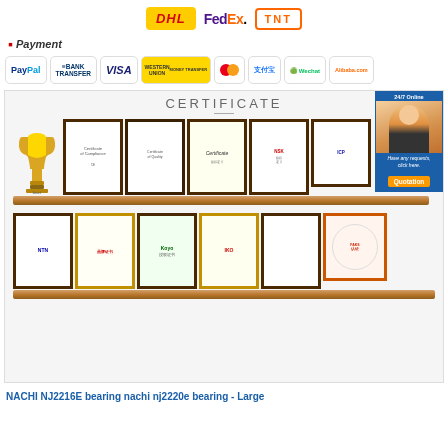[Figure (logo): Shipping carrier logos: DHL, FedEx, TNT]
Payment
[Figure (logo): Payment method logos: PayPal, Bank Transfer, VISA, Western Union, MasterCard, Alipay, Wechat, Alibaba.com]
[Figure (photo): Certificate section showing two shelves of framed certificates and awards including NTN, Kepo, IKO brand authorizations, CE certificates, and a trophy. A customer service representative overlay appears in top right corner with 24/7 Online badge and Quotation button.]
NACHI NJ2216E bearing nachi nj2220e bearing - Large